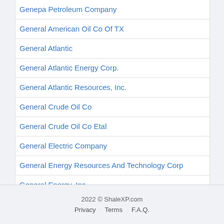Genepa Petroleum Company
General American Oil Co Of TX
General Atlantic
General Atlantic Energy Corp.
General Atlantic Resources, Inc.
General Crude Oil Co
General Crude Oil Co Etal
General Electric Company
General Energy Resources And Technology Corp
General Energy, Inc.
General Minerals Corp
2022 © ShaleXP.com  Privacy  Terms  F.A.Q.